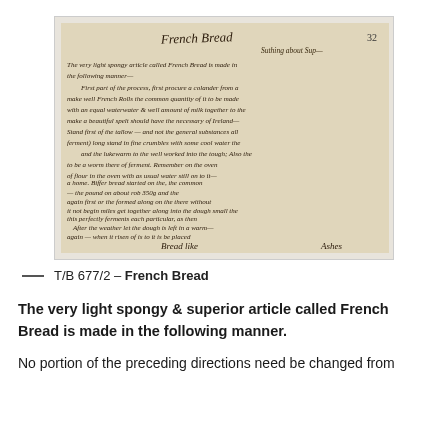[Figure (photo): Photograph of a handwritten historical manuscript page. The manuscript is titled 'French Bread' at the top in cursive script, with the number 32 visible in the upper right corner. The text describes a recipe for French Bread in old cursive handwriting on aged yellowed paper. The bottom of the page reads 'Bread like' in cursive.]
T/B 677/2 – French Bread
The very light spongy & superior article called French Bread is made in the following manner.
No portion of the preceding directions need be changed from